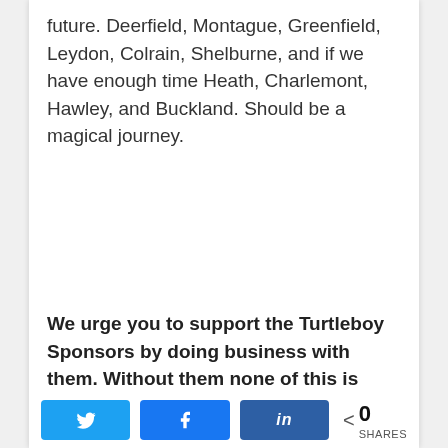future. Deerfield, Montague, Greenfield, Leydon, Colrain, Shelburne, and if we have enough time Heath, Charlemont, Hawley, and Buckland. Should be a magical journey.
We urge you to support the Turtleboy Sponsors by doing business with them. Without them none of this is possible. Click on any of them to check out their sites or Facebook pages.